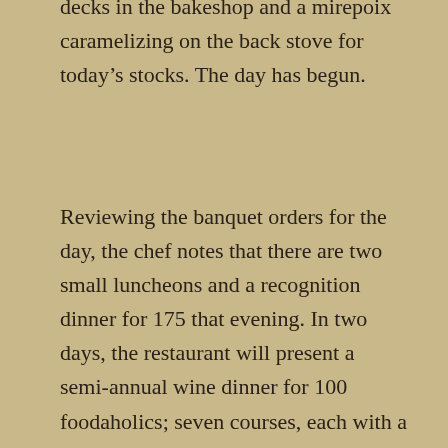decks in the bakeshop and a mirepoix caramelizing on the back stove for today's stocks. The day has begun.
Reviewing the banquet orders for the day, the chef notes that there are two small luncheons and a recognition dinner for 175 that evening. In two days, the restaurant will present a semi-annual wine dinner for 100 foodaholics; seven courses, each with a complementary wine. It will be a heavy prep day on top of normal a